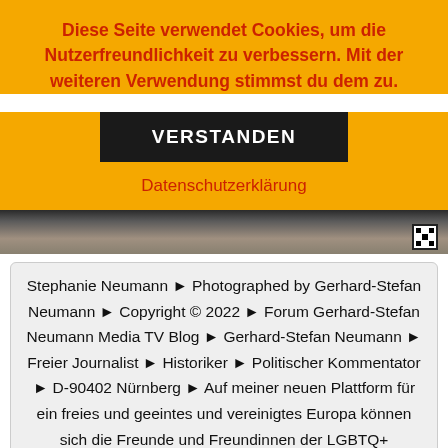Diese Seite verwendet Cookies, um die Nutzerfreundlichkeit zu verbessern. Mit der weiteren Verwendung stimmst du dem zu.
VERSTANDEN
Datenschutzerklärung
[Figure (photo): Partial photo showing dark background, appears to be a person in dark clothing, with a small QR code in the bottom right corner.]
Stephanie Neumann ► Photographed by Gerhard-Stefan Neumann ► Copyright © 2022 ► Forum Gerhard-Stefan Neumann Media TV Blog ► Gerhard-Stefan Neumann ► Freier Journalist ► Historiker ► Politischer Kommentator ► D-90402 Nürnberg ► Auf meiner neuen Plattform für ein freies und geeintes und vereinigtes Europa können sich die Freunde und Freundinnen der LGBTQ+ Community und alle